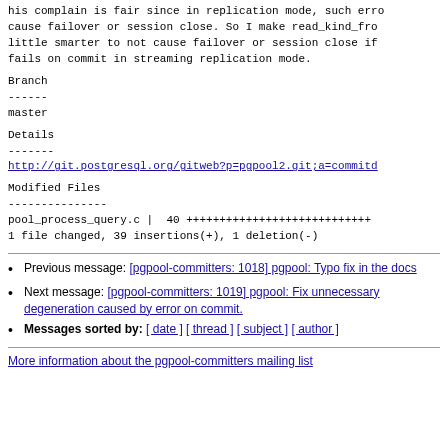his complain is fair since in replication mode, such errors cause failover or session close. So I make read_kind_from little smarter to not cause failover or session close if fails on commit in streaming replication mode.
Branch
------
master
Details
-------
http://git.postgresql.org/gitweb?p=pgpool2.git;a=commitd...
Modified Files
--------------
pool_process_query.c |   40 ++++++++++++++++++++++++++++...
1 file changed, 39 insertions(+), 1 deletion(-)
Previous message: [pgpool-committers: 1018] pgpool: Typo fix in the docs
Next message: [pgpool-committers: 1019] pgpool: Fix unnecessary degeneration caused by error on commit.
Messages sorted by: [ date ] [ thread ] [ subject ] [ author ]
More information about the pgpool-committers mailing list